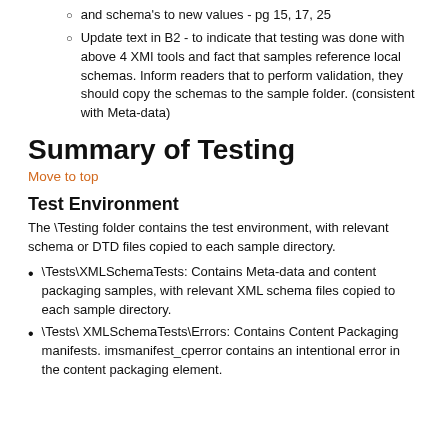and schema's to new values - pg 15, 17, 25
Update text in B2 - to indicate that testing was done with above 4 XMI tools and fact that samples reference local schemas. Inform readers that to perform validation, they should copy the schemas to the sample folder. (consistent with Meta-data)
Summary of Testing
Move to top
Test Environment
The \Testing folder contains the test environment, with relevant schema or DTD files copied to each sample directory.
\Tests\XMLSchemaTests: Contains Meta-data and content packaging samples, with relevant XML schema files copied to each sample directory.
\Tests\ XMLSchemaTests\Errors: Contains Content Packaging manifests. imsmanifest_cperror contains an intentional error in the content packaging element.